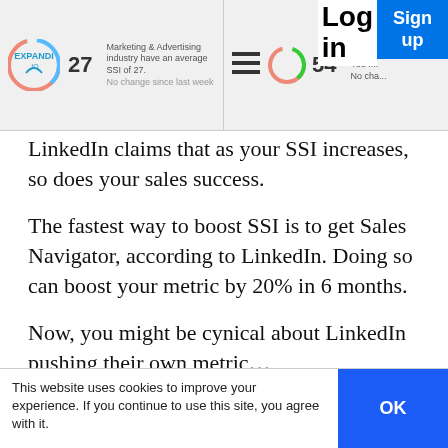[Figure (screenshot): Screenshot of a LinkedIn SSI dashboard showing Expandi.io logo with SSI score of 27, and a second panel with SSI score of 54, along with Log in and Sign up buttons]
LinkedIn claims that as your SSI increases, so does your sales success.
The fastest way to boost SSI is to get Sales Navigator, according to LinkedIn. Doing so can boost your metric by 20% in 6 months.
Now, you might be cynical about LinkedIn pushing their own metric…
This website uses cookies to improve your experience. If you continue to use this site, you agree with it.